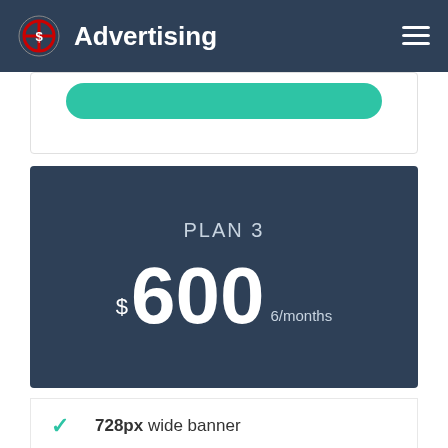Advertising
PLAN 3
$600 6/months
728px wide banner
300px side banner
Quarterly 3 reports